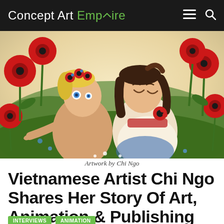Concept Art Empire
[Figure (illustration): Illustration showing two animated female characters surrounded by red poppies and flowers in a bright meadow. One character has blonde hair with a floral crown and blue eyes, the other has dark flowing hair and is smiling. Art style is painterly animation concept art.]
Artwork by Chi Ngo
Vietnamese Artist Chi Ngo Shares Her Story Of Art, Animation & Publishing
INTERVIEWS
ANIMATION